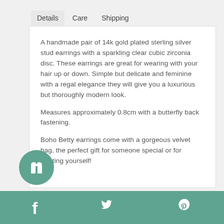Details  Care  Shipping
A handmade pair of 14k gold plated sterling silver stud earrings with a sparkling clear cubic zirconia disc. These earrings are great for wearing with your hair up or down. Simple but delicate and feminine with a regal elegance they will give you a luxurious but thoroughly modern look.

Measures approximately 0.8cm with a butterfly back fastening.

Boho Betty earrings come with a gorgeous velvet bag, the perfect gift for someone special or for treating yourself!
[Figure (illustration): Teal circular gift icon button at bottom left]
[Figure (illustration): Teal footer bar with Facebook, Twitter, and Pinterest icons]